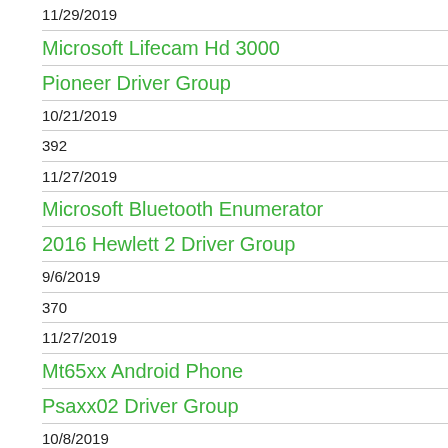11/29/2019
Microsoft Lifecam Hd 3000
Pioneer Driver Group
10/21/2019
392
11/27/2019
Microsoft Bluetooth Enumerator
2016 Hewlett 2 Driver Group
9/6/2019
370
11/27/2019
Mt65xx Android Phone
Psaxx02 Driver Group
10/8/2019
374
11/28/2019
Generic Bluetooth Adapter
New Fujitsu 7 Driver Group
10/1/2019